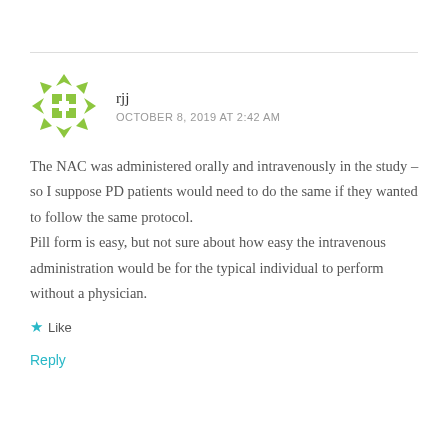[Figure (illustration): Green geometric snowflake/diamond pattern avatar icon for user rjj]
rjj
OCTOBER 8, 2019 AT 2:42 AM
The NAC was administered orally and intravenously in the study – so I suppose PD patients would need to do the same if they wanted to follow the same protocol.
Pill form is easy, but not sure about how easy the intravenous administration would be for the typical individual to perform without a physician.
★ Like
Reply